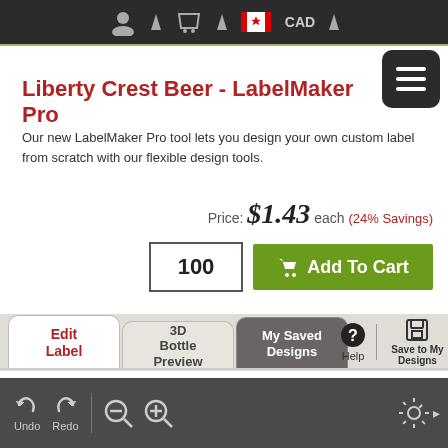Navigation bar with account, cart, Canadian flag, CAD currency
Liberty Crest Beer - LabelMaker Pro
Our new LabelMaker Pro tool lets you design your own custom label from scratch with our flexible design tools.
Price: $1.43 each (24% Savings)
100  Add To Cart
Edit Label   3D Bottle Preview   My Saved Designs   Help   Save to My Designs
Undo  Redo  Zoom out  Zoom in  Settings